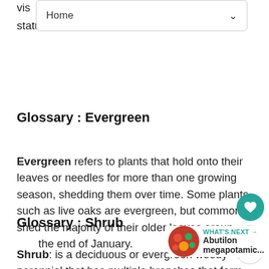[Figure (screenshot): Navigation bar with 'Home' label and dropdown arrow]
vis... pla... statues, water features, or arbors.
Glossary : Evergreen
Evergreen refers to plants that hold onto their leaves or needles for more than one growing season, shedding them over time. Some plants such as live oaks are evergreen, but commonly shed the majority of their older leaves around the end of January.
Glossary : Shrub
Shrub: is a deciduous or evergreen woody perennial that has multiple branches that form